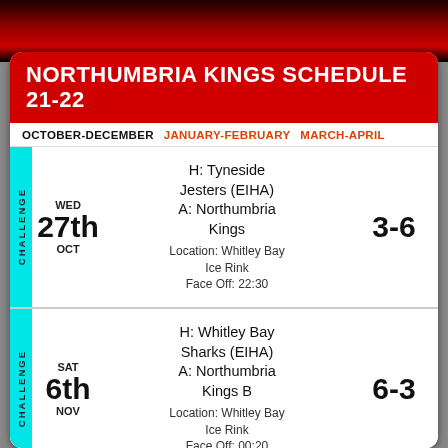NORTHUMBRIA KINGS SCHEDULE 21-22
OCTOBER-DECEMBER  JANUARY-FEBRUARY  MARCH-APRIL
| Category | Day | Date | Match | Score |
| --- | --- | --- | --- | --- |
| CHALLENGE | WED 27th OCT | 27th OCT | H: Tyneside Jesters (EIHA)
A: Northumbria Kings
Location: Whitley Bay Ice Rink
Face Off: 22:30 | 3-6 |
| CHALLENGE | SAT 6th NOV | 6th NOV | H: Whitley Bay Sharks (EIHA)
A: Northumbria Kings B
Location: Whitley Bay Ice Rink
Face Off: 00:20 | 6-3 |